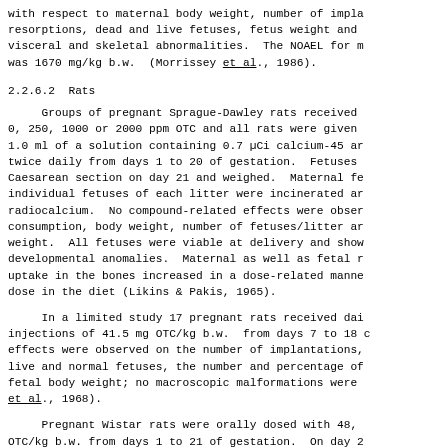with respect to maternal body weight, number of implantations, resorptions, dead and live fetuses, fetus weight and visceral and skeletal abnormalities.  The NOAEL for m was 1670 mg/kg b.w.  (Morrissey et al., 1986).
2.2.6.2  Rats
Groups of pregnant Sprague-Dawley rats received 0, 250, 1000 or 2000 ppm OTC and all rats were given 1.0 ml of a solution containing 0.7 µCi calcium-45 ar twice daily from days 1 to 20 of gestation.  Fetuses Caesarean section on day 21 and weighed.  Maternal fe individual fetuses of each litter were incinerated ar radiocalcium.  No compound-related effects were obser consumption, body weight, number of fetuses/litter ar weight.  All fetuses were viable at delivery and show developmental anomalies.  Maternal as well as fetal r uptake in the bones increased in a dose-related manne dose in the diet (Likins & Pakis, 1965).
In a limited study 17 pregnant rats received dai injections of 41.5 mg OTC/kg b.w.  from days 7 to 18 c effects were observed on the number of implantations, live and normal fetuses, the number and percentage of fetal body weight; no macroscopic malformations were et al., 1968).
Pregnant Wistar rats were orally dosed with 48, OTC/kg b.w. from days 1 to 21 of gestation.  On day 2 sacrificed.  Fetuses were removed and skeletal anoma